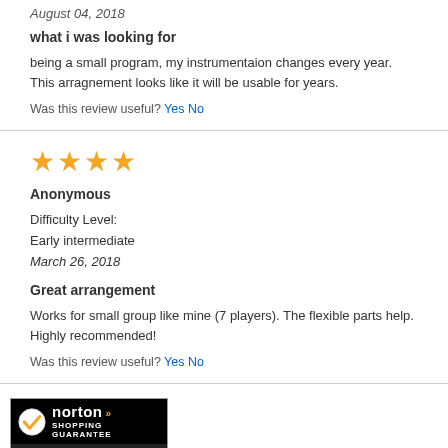August 04, 2018
what i was looking for
being a small program, my instrumentaion changes every year. This arragnement looks like it will be usable for years.
Was this review useful? Yes No
[Figure (other): 4 orange stars rating]
Anonymous
Difficulty Level:
Early intermediate
March 26, 2018
Great arrangement
Works for small group like mine (7 players). The flexible parts help. Highly recommended!
Was this review useful? Yes No
[Figure (logo): Norton Shopping Guarantee badge with verifying... text]